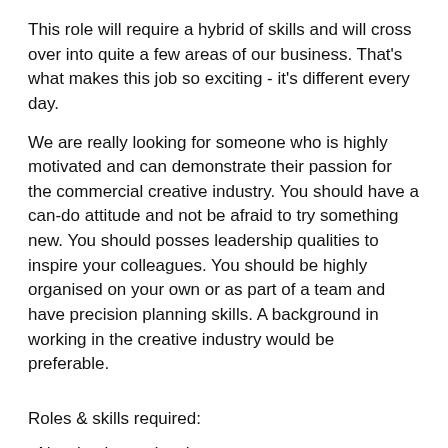This role will require a hybrid of skills and will cross over into quite a few areas of our business. That's what makes this job so exciting - it's different every day.
We are really looking for someone who is highly motivated and can demonstrate their passion for the commercial creative industry. You should have a can-do attitude and not be afraid to try something new. You should posses leadership qualities to inspire your colleagues. You should be highly organised on your own or as part of a team and have precision planning skills. A background in working in the creative industry would be preferable.
Roles & skills required:
- New business development
- Developing new client leads
- Presentations at trade shows
- Experience in cold lead generation